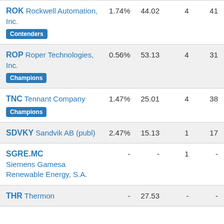| Ticker / Name | Yield | P/E | Col3 | Col4 |
| --- | --- | --- | --- | --- |
| ROK Rockwell Automation, Inc. [Contenders] | 1.74% | 44.02 | 4 | 41 |
| ROP Roper Technologies, Inc. [Champions] | 0.56% | 53.13 | 4 | 31 |
| TNC Tennant Company [Champions] | 1.47% | 25.01 | 4 | 38 |
| SDVKY Sandvik AB (publ) | 2.47% | 15.13 | 1 | 17 |
| SGRE.MC Siemens Gamesa Renewable Energy, S.A. | - | - | 1 | - |
| THR Thermon | - | 27.53 | - | - |